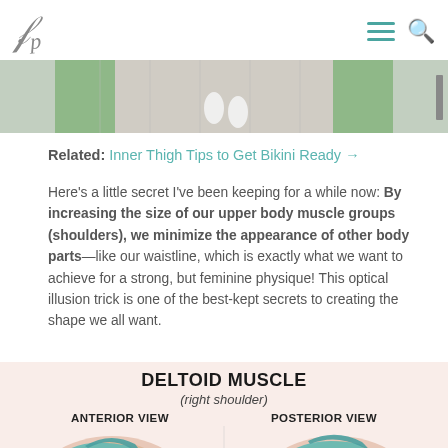Logo and navigation icons
[Figure (photo): Cropped photo of person walking on paved path with grass, showing feet in white shoes from overhead/aerial view. Right edge has a thin dark strip.]
Related: Inner Thigh Tips to Get Bikini Ready →
Here's a little secret I've been keeping for a while now: By increasing the size of our upper body muscle groups (shoulders), we minimize the appearance of other body parts—like our waistline, which is exactly what we want to achieve for a strong, but feminine physique! This optical illusion trick is one of the best-kept secrets to creating the shape we all want.
[Figure (illustration): Anatomical diagram of the Deltoid Muscle (right shoulder) showing Anterior View on the left and Posterior View on the right, with teal/turquoise colored muscle overlays on a flesh-toned shoulder illustration. Pink/peach background.]